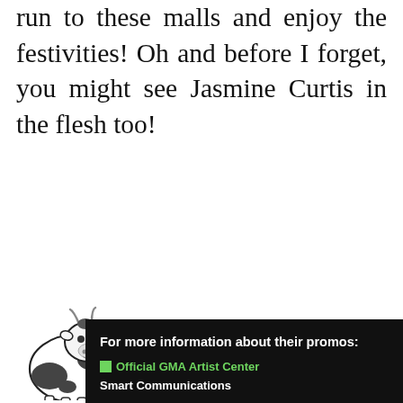run to these malls and enjoy the festivities! Oh and before I forget, you might see Jasmine Curtis in the flesh too!
[Figure (logo): KUMAGCOW logo with a cartoon cow illustration and bold text reading KUMAGCOW]
For more information about their promos:
Official GMA Artist Center
Smart Communications